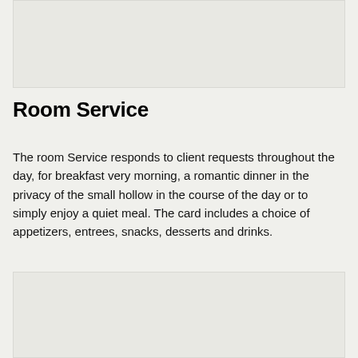[Figure (photo): Top image placeholder area with light gray background]
Room Service
The room Service responds to client requests throughout the day, for breakfast very morning, a romantic dinner in the privacy of the small hollow in the course of the day or to simply enjoy a quiet meal. The card includes a choice of appetizers, entrees, snacks, desserts and drinks.
[Figure (photo): Bottom image placeholder area with light gray background]